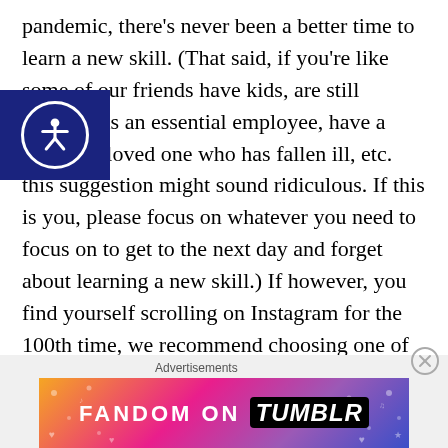pandemic, there's never been a better time to learn a new skill. (That said, if you're like some of our friends have kids, are still working as an essential employee, have a parent or loved one who has fallen ill, etc. this suggestion might sound ridiculous. If this is you, please focus on whatever you need to focus on to get to the next day and forget about learning a new skill.) If however, you find yourself scrolling on Instagram for the 100th time, we recommend choosing one of the options above. It might just make your next road trip a whole lot better. These are our best van life skills to learn during COVID-19. We'd love to hear your suggestions. Please drop us a line or leave a comment below.
[Figure (logo): Accessibility icon badge — dark navy blue square with a white circle containing a person/wheelchair accessibility symbol]
[Figure (infographic): Fandom on Tumblr advertisement banner with colorful gradient background (orange to pink to purple to blue) featuring the text 'FANDOM ON tumblr' with decorative icons and patterns]